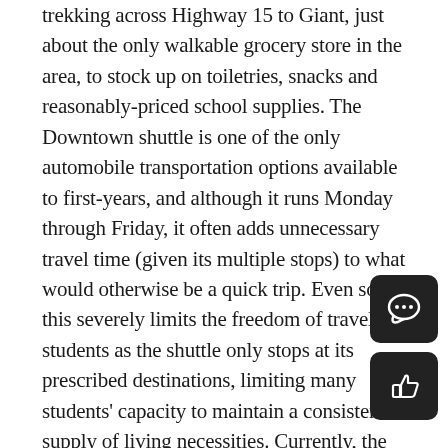trekking across Highway 15 to Giant, just about the only walkable grocery store in the area, to stock up on toiletries, snacks and reasonably-priced school supplies. The Downtown shuttle is one of the only automobile transportation options available to first-years, and although it runs Monday through Friday, it often adds unnecessary travel time (given its multiple stops) to what would otherwise be a quick trip. Even so, this severely limits the freedom of travel to students as the shuttle only stops at its prescribed destinations, limiting many students' capacity to maintain a consistent supply of living necessities. Currently, the best bets for traveling freedom hinge on either sneaking an unregistered car on campus or buddying up with someone with access to one.
Students without access to cars, first-years and beyond, need more transportation options. Whatever happened to ZipCar? The University should make an effort to bring